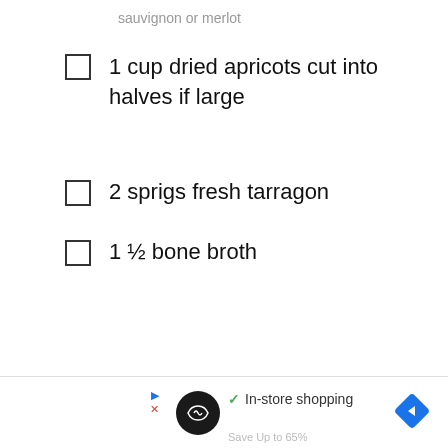sauvignon or merlot
1 cup dried apricots cut into halves if large
2 sprigs fresh tarragon
1 ½ bone broth
[Figure (screenshot): Advertisement bar at bottom with circular logo, checkmark 'In-store shopping' text, play/close buttons, and blue diamond navigation icon. Text partially visible: 'Save Up to 65%']